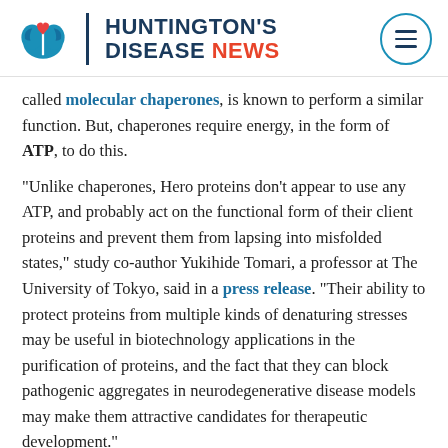HUNTINGTON'S DISEASE NEWS
called molecular chaperones, is known to perform a similar function. But, chaperones require energy, in the form of ATP, to do this.
“Unlike chaperones, Hero proteins don’t appear to use any ATP, and probably act on the functional form of their client proteins and prevent them from lapsing into misfolded states,” study co-author Yukihide Tomari, a professor at The University of Tokyo, said in a press release. “Their ability to protect proteins from multiple kinds of denaturing stresses may be useful in biotechnology applications in the purification of proteins, and the fact that they can block pathogenic aggregates in neurodegenerative disease models may make them attractive candidates for therapeutic development.”
Print This Page